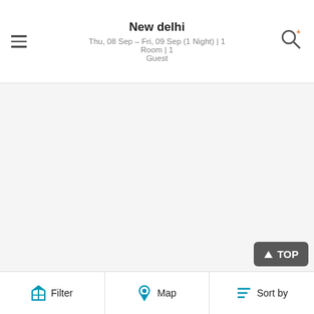New delhi
Thu, 08 Sep – Fri, 09 Sep (1 Night) | 1 Room | 1 Guest
[Figure (photo): Hotel exterior photo placeholder (white/light gray area)]
The Roseate
PRICE PER NIGHT
₹15,999 ₹10,399
Samalkha, New Delhi  Get Directions
2.52 KM
★★★★★
4.5/5 Excellent   (5016)
Visitor Policy - Please note that in view of the present scenario, no visitors are allowed on property for the time being.
Filter   Map   Sort by